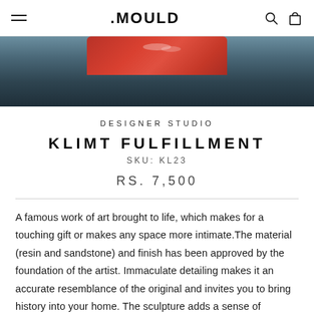MOULD
[Figure (photo): Partial view of a decorative sculpture/artwork — an orange-red curved top piece against a dark slate-blue background]
DESIGNER STUDIO
KLIMT FULFILLMENT
SKU: KL23
RS. 7,500
A famous work of art brought to life, which makes for a touching gift or makes any space more intimate.The material (resin and sandstone) and finish has been approved by the foundation of the artist. Immaculate detailing makes it an accurate resemblance of the original and invites you to bring history into your home. The sculpture adds a sense of gravitas